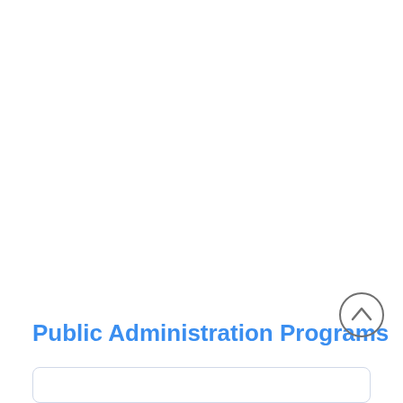Public Administration Programs
[Figure (other): Up arrow navigation button (circle with chevron up icon)]